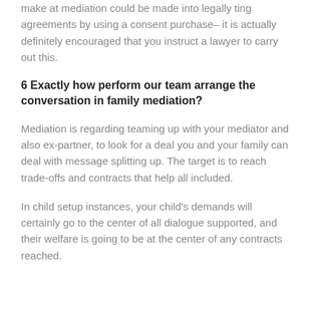make at mediation could be made into legally ting agreements by using a consent purchase– it is actually definitely encouraged that you instruct a lawyer to carry out this.
6 Exactly how perform our team arrange the conversation in family mediation?
Mediation is regarding teaming up with your mediator and also ex-partner, to look for a deal you and your family can deal with message splitting up. The target is to reach trade-offs and contracts that help all included.
In child setup instances, your child's demands will certainly go to the center of all dialogue supported, and their welfare is going to be at the center of any contracts reached.